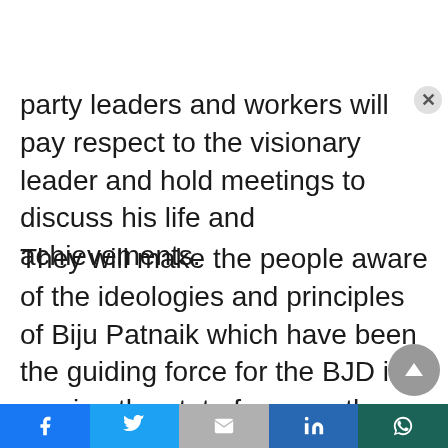party leaders and workers will pay respect to the visionary leader and hold meetings to discuss his life and achievements.
They will make the people aware of the ideologies and principles of Biju Patnaik which have been the guiding force for the BJD in serving the state for more than two decades.
Besides, the party will celebrate International Women's Day in every constituency on March 8 to
Facebook | Twitter | Gmail | LinkedIn | WhatsApp